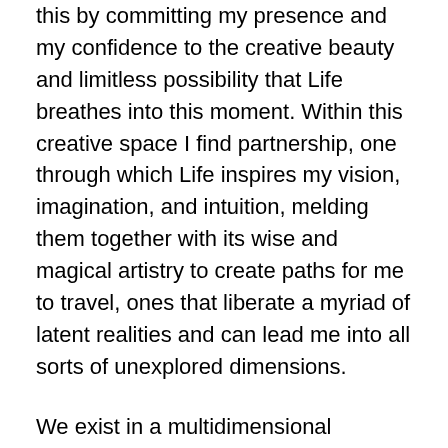this by committing my presence and my confidence to the creative beauty and limitless possibility that Life breathes into this moment. Within this creative space I find partnership, one through which Life inspires my vision, imagination, and intuition, melding them together with its wise and magical artistry to create paths for me to travel, ones that liberate a myriad of latent realities and can lead me into all sorts of unexplored dimensions.
We exist in a multidimensional Universe. Always teetering on the perimeter of multifarious probabilities, we constantly shift through dimensions with ne'er a notice; our movement so subtle that there's usually no distinct perception of it. You can consciously bring some of your awareness to a shift by being especially mindful of the inspired and life giving perceptions that you hold, noticing